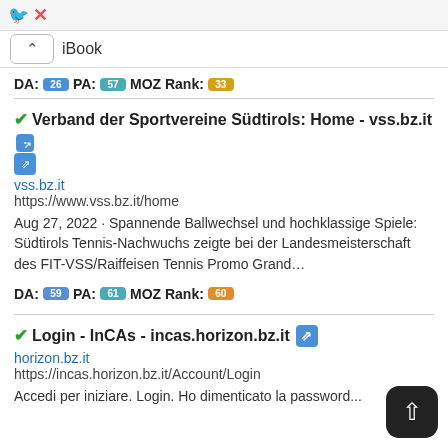iBook
DA: 26 PA: 57 MOZ Rank: 33
✔Verband der Sportvereine Südtirols: Home - vss.bz.it
vss.bz.it
https://www.vss.bz.it/home
Aug 27, 2022 · Spannende Ballwechsel und hochklassige Spiele: Südtirols Tennis-Nachwuchs zeigte bei der Landesmeisterschaft des FIT-VSS/Raiffeisen Tennis Promo Grand…
DA: 59 PA: 61 MOZ Rank: 60
✔Login - InCAs - incas.horizon.bz.it
horizon.bz.it
https://incas.horizon.bz.it/Account/Login
Accedi per iniziare. Login. Ho dimenticato la password...